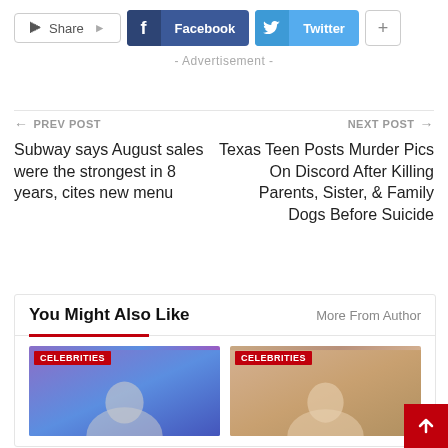[Figure (screenshot): Social share bar with Share button, Facebook button, Twitter button, and plus button]
- Advertisement -
← PREV POST
Subway says August sales were the strongest in 8 years, cites new menu
NEXT POST →
Texas Teen Posts Murder Pics On Discord After Killing Parents, Sister, & Family Dogs Before Suicide
You Might Also Like
More From Author
[Figure (photo): Celebrity thumbnail image with CELEBRITIES label]
[Figure (photo): Celebrity thumbnail image with CELEBRITIES label (blonde woman)]